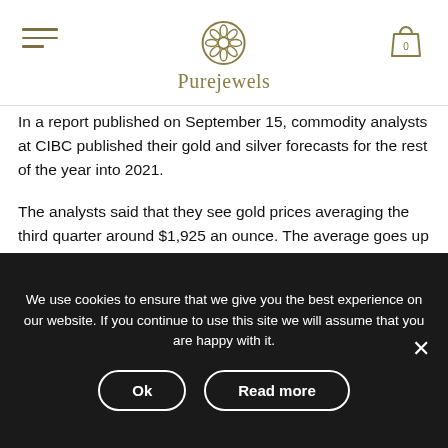Purejewels
In a report published on September 15, commodity analysts at CIBC published their gold and silver forecasts for the rest of the year into 2021.
The analysts said that they see gold prices averaging the third quarter around $1,925 an ounce. The average goes up to $2,000 for the fourth quarter.
We use cookies to ensure that we give you the best experience on our website. If you continue to use this site we will assume that you are happy with it.